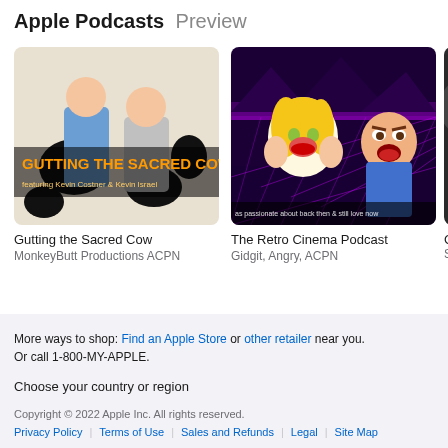Apple Podcasts Preview
[Figure (illustration): Podcast cover art for Gutting the Sacred Cow - cartoon illustration of two people with a cow, with text 'GUTTING THE SACRED COW featuring Kevin Costner & Kevin Israel']
Gutting the Sacred Cow
MonkeyButt Productions ACPN
[Figure (illustration): Podcast cover art for The Retro Cinema Podcast - retro 80s style with cartoon characters: surprised blonde woman and angry man, purple/neon grid background]
The Retro Cinema Podcast
Gidgit, Angry, ACPN
[Figure (illustration): Partially visible third podcast cover art - dark background, cropped]
Ch...
Se...
More ways to shop: Find an Apple Store or other retailer near you.
Or call 1-800-MY-APPLE.
Choose your country or region
Copyright © 2022 Apple Inc. All rights reserved.
Privacy Policy | Terms of Use | Sales and Refunds | Legal | Site Map